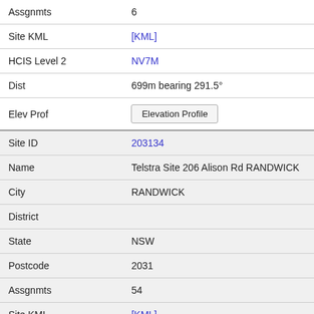| Field | Value |
| --- | --- |
| Assgnmts | 6 |
| Site KML | [KML] |
| HCIS Level 2 | NV7M |
| Dist | 699m bearing 291.5° |
| Elev Prof | Elevation Profile |
| Site ID | 203134 |
| Name | Telstra Site 206 Alison Rd RANDWICK |
| City | RANDWICK |
| District |  |
| State | NSW |
| Postcode | 2031 |
| Assgnmts | 54 |
| Site KML | [KML] |
| HCIS Level 2 | NV7M |
| Dist | 701m bearing 113.7° |
| Elev Prof | Elevation Profile |